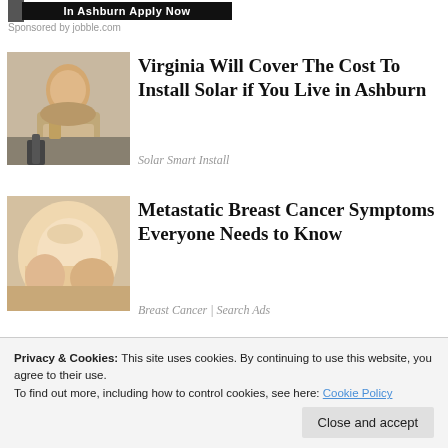[Figure (screenshot): Dark banner ad reading 'In Ashburn Apply Now']
Sponsored by jobble.com
[Figure (photo): Photo of a woman with short blonde hair and glasses speaking at a microphone]
Virginia Will Cover The Cost To Install Solar if You Live in Ashburn
Solar Smart Install
[Figure (photo): Photo of a person holding their torso area]
Metastatic Breast Cancer Symptoms Everyone Needs to Know
Breast Cancer | Search Ads
Privacy & Cookies: This site uses cookies. By continuing to use this website, you agree to their use.
To find out more, including how to control cookies, see here: Cookie Policy
Close and accept